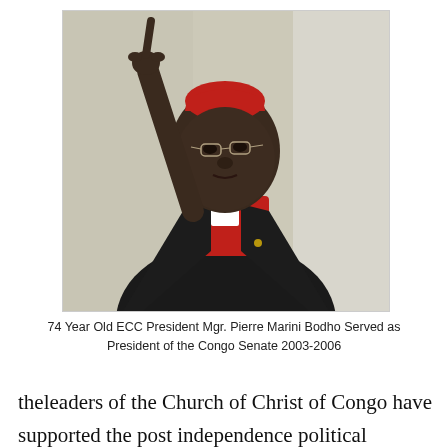[Figure (photo): A man wearing a dark suit jacket over a red clerical shirt with a white collar tab and a red cardinal's skullcap, pointing upward with his right index finger. Background is a light beige/cream wall.]
74 Year Old ECC President Mgr. Pierre Marini Bodho Served as President of the Congo Senate 2003-2006
theleaders of the Church of Christ of Congo have supported the post independence political regimes.  The